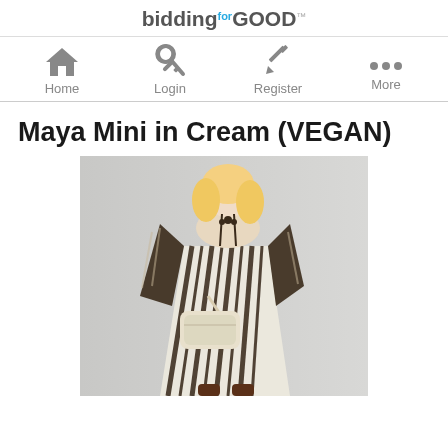biddingforGOOD
[Figure (infographic): Navigation bar with icons for Home (house icon), Login (key icon), Register (pencil icon), and More (three dots icon)]
Maya Mini in Cream (VEGAN)
[Figure (photo): A blonde model wearing a cream and black striped midi dress with long sleeves, carrying a cream crossbody bag and wearing dark brown boots, posed against a light gray background]